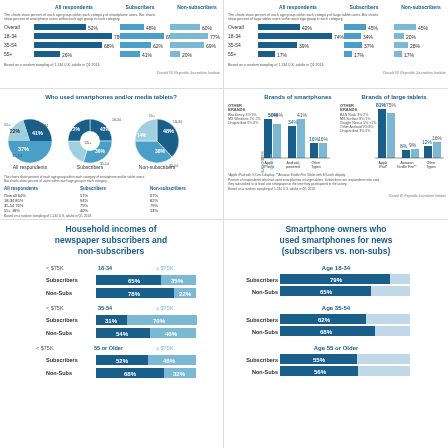[Figure (bar-chart): Smartphone users by age]
[Figure (bar-chart): Large tablet users by age]
[Figure (pie-chart): Who used smartphones and/or media tablets?]
[Figure (bar-chart): Brands of smartphones and large tablets]
Household incomes of newspaper subscribers and non-subscribers
[Figure (grouped-bar-chart): Household incomes by age group]
Smartphone owners who used smartphones for news (subscribers vs. non-subs)
[Figure (bar-chart): Smartphone use for news by age]